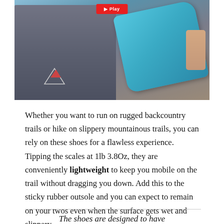[Figure (photo): A person holding up a blue trail running shoe, wearing a gray t-shirt with a mountain graphic. A red play button button is visible at the top center of the image.]
Whether you want to run on rugged backcountry trails or hike on slippery mountainous trails, you can rely on these shoes for a flawless experience. Tipping the scales at 1lb 3.8Oz, they are conveniently lightweight to keep you mobile on the trail without dragging you down. Add this to the sticky rubber outsole and you can expect to remain on your twos even when the surface gets wet and slippery.
The shoes are designed to have